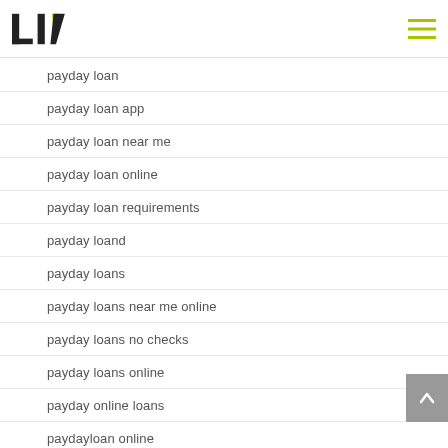LIV (logo) navigation header
payday loan
payday loan app
payday loan near me
payday loan online
payday loan requirements
payday loand
payday loans
payday loans near me online
payday loans no checks
payday loans online
payday online loans
paydayloan online